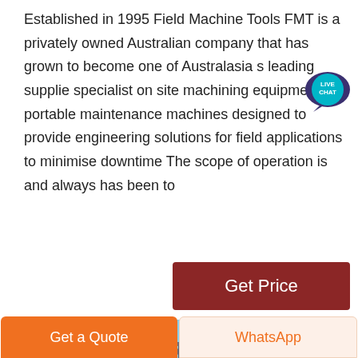Established in 1995 Field Machine Tools FMT is a privately owned Australian company that has grown to become one of Australasia s leading supplier specialist on site machining equipment portable maintenance machines designed to provide engineering solutions for field applications to minimise downtime The scope of operation is and always has been to
[Figure (other): Live Chat badge/button overlay in top right corner]
[Figure (other): Get Price button - dark red/maroon colored rectangular button]
[Figure (photo): Industrial facility photo showing steel structure/tower with blue sky and clouds]
Get a Quote
WhatsApp